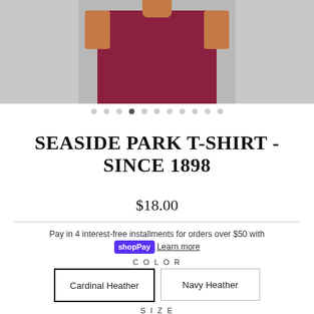[Figure (photo): Product photo carousel showing a mannequin wearing a dark cardinal heather t-shirt against a light gray background. Two partially visible side panels flank the central image.]
• • • • • • • • • • •
SEASIDE PARK T-SHIRT - SINCE 1898
$18.00
Pay in 4 interest-free installments for orders over $50 with shop Pay Learn more
COLOR
Cardinal Heather   Navy Heather
SIZE